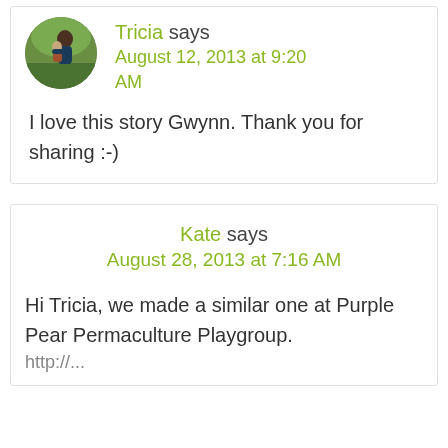[Figure (photo): Circular avatar photo of a woman (Tricia) holding a child, outdoors with green background]
Tricia says
August 12, 2013 at 9:20 AM
I love this story Gwynn. Thank you for sharing :-)
Kate says
August 28, 2013 at 7:16 AM
Hi Tricia, we made a similar one at Purple Pear Permaculture Playgroup.